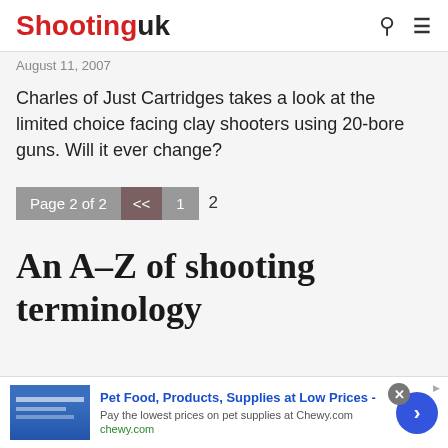Shooting uk
August 11, 2007
Charles of Just Cartridges takes a look at the limited choice facing clay shooters using 20-bore guns. Will it ever change?
Page 2 of 2  <<  1  2
An A-Z of shooting terminology
[Figure (other): Advertisement banner: Pet Food, Products, Supplies at Low Prices - Pay the lowest prices on pet supplies at Chewy.com chewy.com]